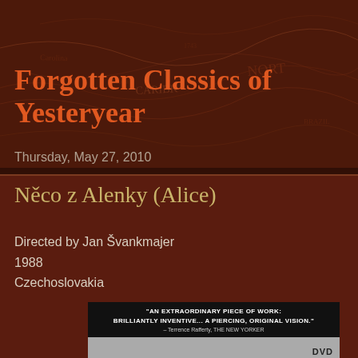[Figure (illustration): Dark reddish-brown aged map texture background covering the upper portion of the page]
Forgotten Classics of Yesteryear
Thursday, May 27, 2010
Něco z Alenky (Alice)
Directed by Jan Švankmajer
1988
Czechoslovakia
[Figure (photo): DVD cover image for the film with black top banner showing quote: "AN EXTRAORDINARY PIECE OF WORK: BRILLIANTLY INVENTIVE... A PIERCING, ORIGINAL VISION." - Terrence Rafferty, THE NEW YORKER, with DVD logo at bottom right]